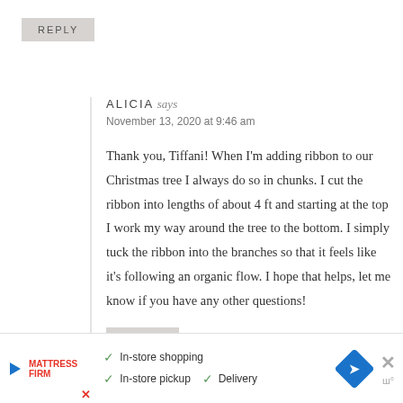REPLY
ALICIA says
November 13, 2020 at 9:46 am
Thank you, Tiffani! When I'm adding ribbon to our Christmas tree I always do so in chunks. I cut the ribbon into lengths of about 4 ft and starting at the top I work my way around the tree to the bottom. I simply tuck the ribbon into the branches so that it feels like it's following an organic flow. I hope that helps, let me know if you have any other questions!
REPLY
[Figure (advertisement): Mattress Firm advertisement banner showing in-store shopping, in-store pickup, and delivery options with a navigation/directions icon.]